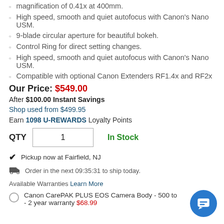magnification of 0.41x at 400mm.
High speed, smooth and quiet autofocus with Canon's Nano USM.
9-blade circular aperture for beautiful bokeh.
Control Ring for direct setting changes.
High speed, smooth and quiet autofocus with Canon's Nano USM.
Compatible with optional Canon Extenders RF1.4x and RF2x
Our Price: $549.00
After $100.00 Instant Savings
Shop used from $499.95
Earn 1098 U-REWARDS Loyalty Points
QTY 1  In Stock
Pickup now at Fairfield, NJ
Order in the next 09:35:31 to ship today.
Available Warranties Learn More
Canon CarePAK PLUS EOS Camera Body - 500 to ... - 2 year warranty $68.99